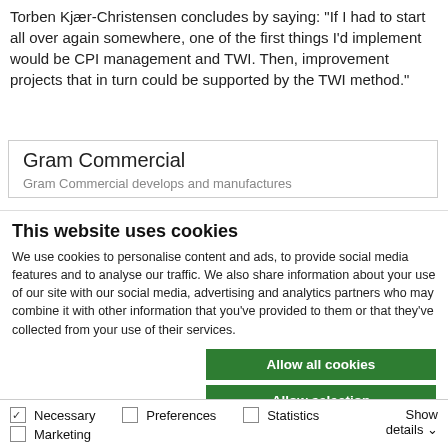Torben Kjær-Christensen concludes by saying: "If I had to start all over again somewhere, one of the first things I'd implement would be CPI management and TWI. Then, improvement projects that in turn could be supported by the TWI method."
Gram Commercial
Gram Commercial develops and manufactures
This website uses cookies
We use cookies to personalise content and ads, to provide social media features and to analyse our traffic. We also share information about your use of our site with our social media, advertising and analytics partners who may combine it with other information that you've provided to them or that they've collected from your use of their services.
Allow all cookies
Allow selection
Use necessary cookies only
Necessary
Preferences
Statistics
Marketing
Show details